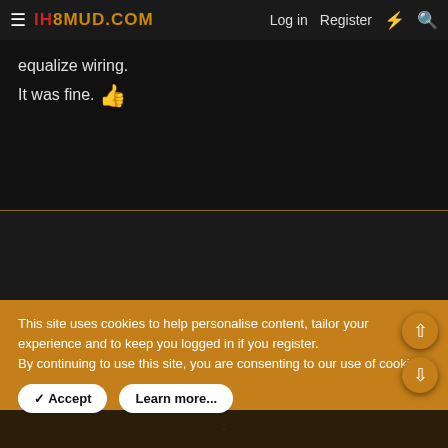≡ IH8MUD.COM  Log in  Register
equalize wiring.
It was fine. 👍
This site uses cookies to help personalise content, tailor your experience and to keep you logged in if you register.
By continuing to use this site, you are consenting to our use of cookies.
✓ Accept  Learn more...